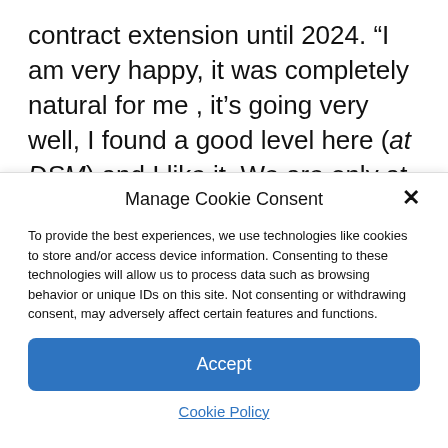contract extension until 2024. “I am very happy, it was completely natural for me , it’s going very well, I found a good level here (at DSM) and I like it. We are only at the beginning of the plan I hope, said the French rider. I am happy to be able to continue the adventure with them. I am very comfortable
Manage Cookie Consent
To provide the best experiences, we use technologies like cookies to store and/or access device information. Consenting to these technologies will allow us to process data such as browsing behavior or unique IDs on this site. Not consenting or withdrawing consent, may adversely affect certain features and functions.
Accept
Cookie Policy